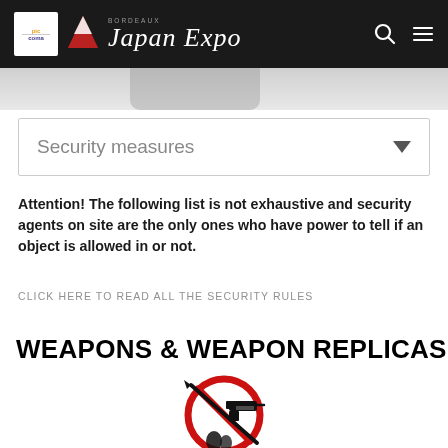Japan Expo
Security measures
Attention! The following list is not exhaustive and security agents on site are the only ones who have power to tell if an object is allowed in or not.
CLICK HERE TO READ ALL THE SECURITY RULES
WEAPONS & WEAPON REPLICAS
[Figure (illustration): No weapons prohibition sign showing crossed sword, gun, and other items in a red circle with diagonal line]